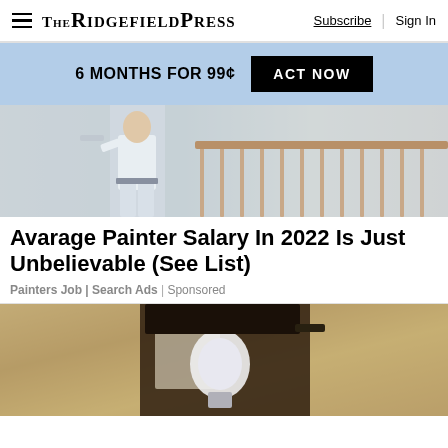THE RIDGEFIELD PRESS | Subscribe | Sign In
6 MONTHS FOR 99¢  ACT NOW
[Figure (photo): A painter in white work clothes standing near a staircase railing, painting a wall]
Avarage Painter Salary In 2022 Is Just Unbelievable (See List)
Painters Job | Search Ads | Sponsored
[Figure (photo): Close-up of an outdoor wall lantern light fixture mounted on a textured stucco wall]